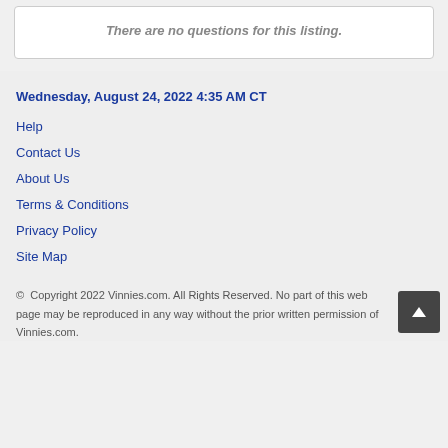There are no questions for this listing.
Wednesday, August 24, 2022 4:35 AM CT
Help
Contact Us
About Us
Terms & Conditions
Privacy Policy
Site Map
© Copyright 2022 Vinnies.com. All Rights Reserved. No part of this web page may be reproduced in any way without the prior written permission of Vinnies.com.